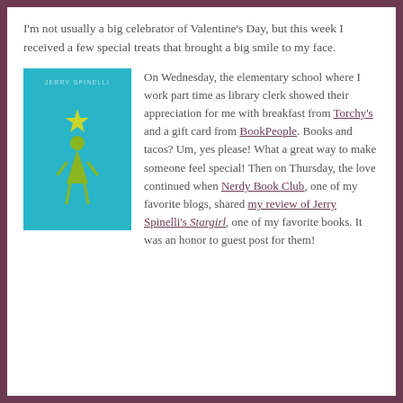I'm not usually a big celebrator of Valentine's Day, but this week I received a few special treats that brought a big smile to my face.
[Figure (illustration): Book cover of Stargirl by Jerry Spinelli — teal/cyan background with a yellow-green stick figure girl and a star above her head, small text at top reading 'JERRY SPINELLI']
On Wednesday, the elementary school where I work part time as library clerk showed their appreciation for me with breakfast from Torchy's and a gift card from BookPeople. Books and tacos? Um, yes please! What a great way to make someone feel special! Then on Thursday, the love continued when Nerdy Book Club, one of my favorite blogs, shared my review of Jerry Spinelli's Stargirl, one of my favorite books. It was an honor to guest post for them!